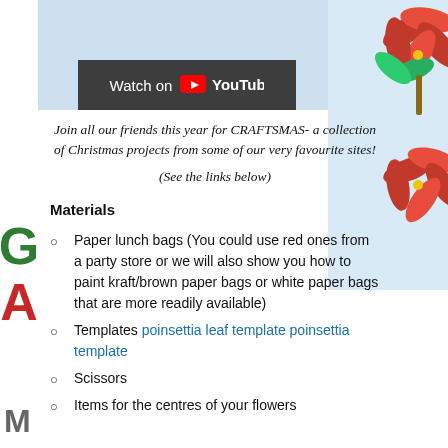[Figure (screenshot): YouTube video thumbnail showing paper poinsettia crafts on blue-grey background with a Watch on YouTube button]
[Figure (photo): Red and green paper poinsettia flowers visible in top-right corner]
Join all our friends this year for CRAFTSMAS- a collection of Christmas projects from some of our very favourite sites!
(See the links below)
Materials
Paper lunch bags (You could use red ones from a party store or we will also show you how to paint kraft/brown paper bags or white paper bags that are more readily available)
Templates poinsettia leaf template poinsettia template
Scissors
Items for the centres of your flowers